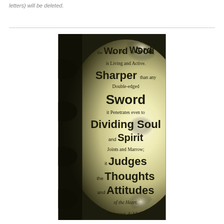letters) will be deleted.
[Figure (illustration): Decorative image with dark background and glowing center, displaying Bible verse Hebrews 4:12-13 in mixed font sizes: 'the Word of God is Living and Active. Sharper than any Double-edged Sword it Penetrates even to Dividing Soul and Spirit Joints and Marrow; it Judges the Thoughts and Attitudes of the Heart. Hebrews 4:12-13']